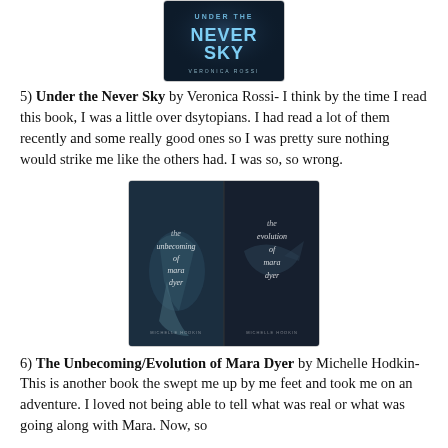[Figure (photo): Book cover of 'Under the Never Sky' by Veronica Rossi — dark blue cover with large text]
5) Under the Never Sky by Veronica Rossi- I think by the time I read this book, I was a little over dsytopians. I had read a lot of them recently and some really good ones so I was pretty sure nothing would strike me like the others had. I was so, so wrong.
[Figure (photo): Book covers of 'The Unbecoming of Mara Dyer' and 'The Evolution of Mara Dyer' by Michelle Hodkin — two underwater-themed book covers side by side]
6) The Unbecoming/Evolution of Mara Dyer by Michelle Hodkin- This is another book the swept me up by me feet and took me on an adventure. I loved not being able to tell what was real or what was going along with Mara. Now, so